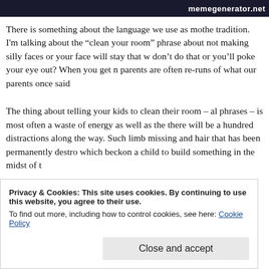memegenerator.net
There is something about the language we use as mothe tradition. I'm talking about the "clean your room" phrase about not making silly faces or your face will stay that w don't do that or you'll poke your eye out? When you get n parents are often re-runs of what our parents once said
The thing about telling your kids to clean their room – al phrases – is most often a waste of energy as well as the there will be a hundred distractions along the way. Such limb missing and hair that has been permanently destro which beckon a child to build something in the midst of t
Privacy & Cookies: This site uses cookies. By continuing to use this website, you agree to their use. To find out more, including how to control cookies, see here: Cookie Policy